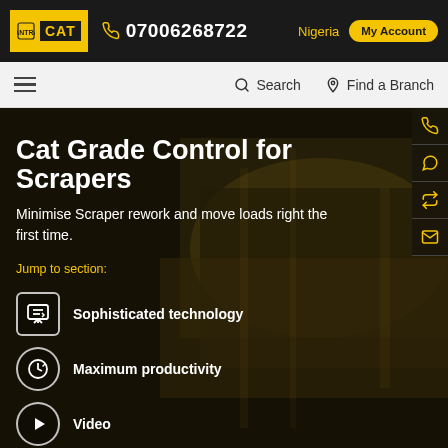MANTRAC CAT | 07006268722 | Nigeria | My Account
Search | Find a Branch
Home > Technology > Grade > Cat Grade Control For S...
Cat Grade Control for Scrapers
Minimise Scraper rework and move loads right the first time.
Jump to section:
Sophisticated technology
Maximum productivity
Video